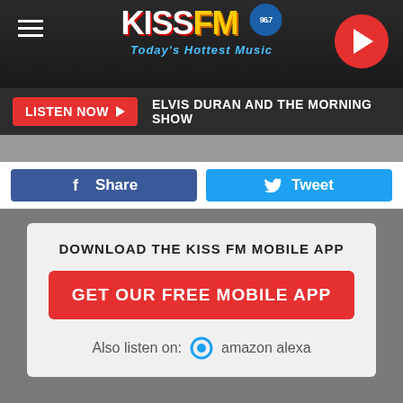[Figure (screenshot): KISS FM 96.7 radio station website header with logo, hamburger menu, and play button]
LISTEN NOW  ELVIS DURAN AND THE MORNING SHOW
Share
Tweet
DOWNLOAD THE KISS FM MOBILE APP
GET OUR FREE MOBILE APP
Also listen on:  amazon alexa